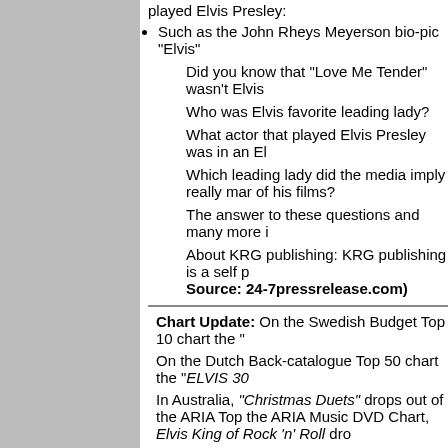played Elvis Presley:
Such as the John Rheys Meyerson bio-pic "Elvis"
Did you know that "Love Me Tender" wasn't Elvis
Who was Elvis favorite leading lady?
What actor that played Elvis Presley was in an El
Which leading lady did the media imply really ma of his films?
The answer to these questions and many more i
About KRG publishing: KRG publishing is a self p Source: 24-7pressrelease.com)
Chart Update: On the Swedish Budget Top 10 chart the "
On the Dutch Back-catalogue Top 50 chart the "ELVIS 30
In Australia, "Christmas Duets" drops out of the ARIA Top the ARIA Music DVD Chart, Elvis King of Rock 'n' Roll dro
Here are Elvis' entries on this week's Billboard charts in th
Top 200 Albums - 'Elvis Christmas Duets' - Down f
Top Country Albums - 'Elvis Christmas Duets' - Do
Top Holiday Albums - 'Elvis Christmas Duets' - Do
Comprehensive Albums - 'Elvis Christmas Duets'